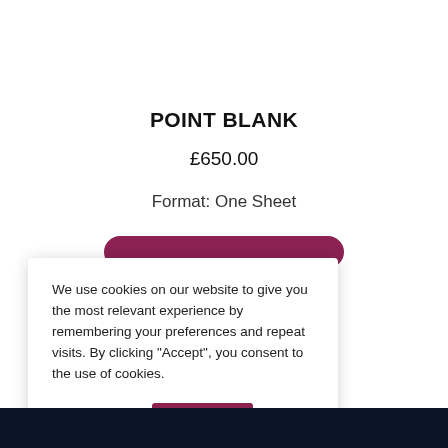POINT BLANK
£650.00
Format: One Sheet
We use cookies on our website to give you the most relevant experience by remembering your preferences and repeat visits. By clicking “Accept”, you consent to the use of cookies.
Privacy Policy
ACCEPT
Cookie Settings